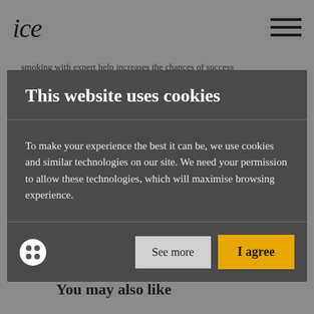ice
smoking with expert help increases the chances of success
This website uses cookies
To make your experience the best it can be, we use cookies and similar technologies on our site. We need your permission to allow these technologies, which will maximise browsing experience.
Call: 0800 122 3790
You may also like